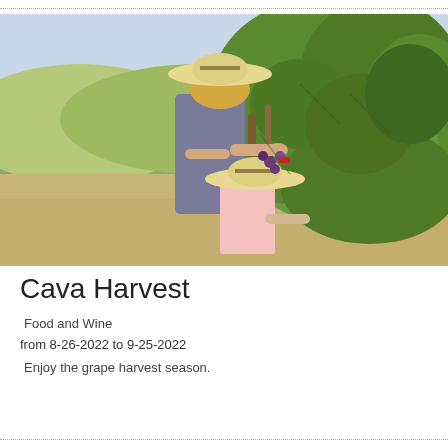[Figure (photo): Two people wearing straw hats picking grapes from a vineyard in an outdoor setting with sandy soil and green grapevines]
Cava Harvest
Food and Wine
from 8-26-2022 to 9-25-2022
Enjoy the grape harvest season.